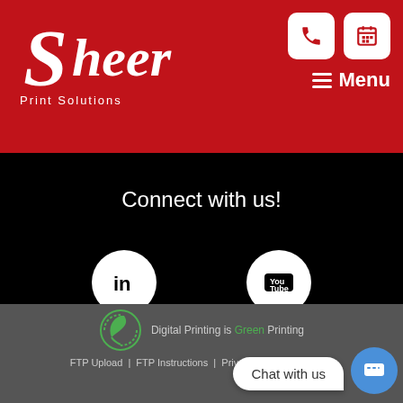[Figure (logo): Sheer Print Solutions logo - white cursive text on red background with 'Print Solutions' text below]
[Figure (infographic): Navigation icons: phone icon and calendar icon (white squares with red icons) and hamburger Menu button]
Connect with us!
[Figure (infographic): Two social media icons on black background: LinkedIn circle and YouTube circle]
[Figure (logo): Green leaf/eco logo in circle with arrows]
Digital Printing is Green Printing
FTP Upload | FTP Instructions | Privacy Policy | Sitemap
[Figure (infographic): Chat with us bubble and blue chat button]